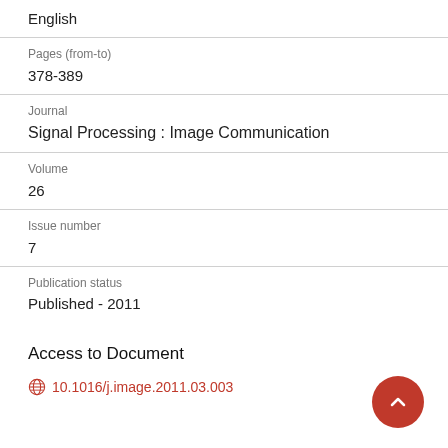English
Pages (from-to)
378-389
Journal
Signal Processing : Image Communication
Volume
26
Issue number
7
Publication status
Published - 2011
Access to Document
10.1016/j.image.2011.03.003